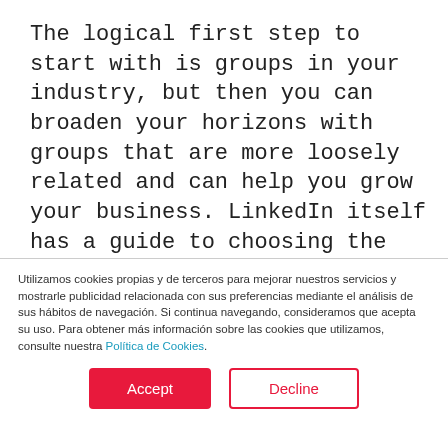The logical first step to start with is groups in your industry, but then you can broaden your horizons with groups that are more loosely related and can help you grow your business. LinkedIn itself has a guide to choosing the right groups and joining them.
Utilizamos cookies propias y de terceros para mejorar nuestros servicios y mostrarle publicidad relacionada con sus preferencias mediante el análisis de sus hábitos de navegación. Si continua navegando, consideramos que acepta su uso. Para obtener más información sobre las cookies que utilizamos, consulte nuestra Política de Cookies.